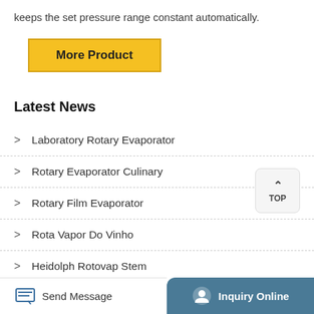keeps the set pressure range constant automatically.
[Figure (other): Yellow 'More Product' button with black border]
Latest News
Laboratory Rotary Evaporator
Rotary Evaporator Culinary
Rotary Film Evaporator
Rota Vapor Do Vinho
Heidolph Rotovap Stem
Send Message   Inquiry Online